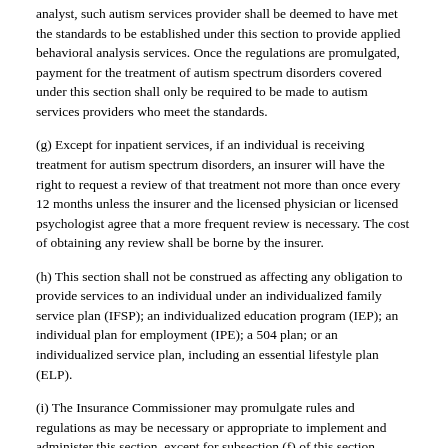analyst, such autism services provider shall be deemed to have met the standards to be established under this section to provide applied behavioral analysis services. Once the regulations are promulgated, payment for the treatment of autism spectrum disorders covered under this section shall only be required to be made to autism services providers who meet the standards.
(g) Except for inpatient services, if an individual is receiving treatment for autism spectrum disorders, an insurer will have the right to request a review of that treatment not more than once every 12 months unless the insurer and the licensed physician or licensed psychologist agree that a more frequent review is necessary. The cost of obtaining any review shall be borne by the insurer.
(h) This section shall not be construed as affecting any obligation to provide services to an individual under an individualized family service plan (IFSP); an individualized education program (IEP); an individual plan for employment (IPE); a 504 plan; or an individualized service plan, including an essential lifestyle plan (ELP).
(i) The Insurance Commissioner may promulgate rules and regulations as may be necessary or appropriate to implement and administer this section, except for subsection (f) of this section.
78 Del. Laws, c. 398, §  3;  81 Del. Laws, c. 29, § 2;